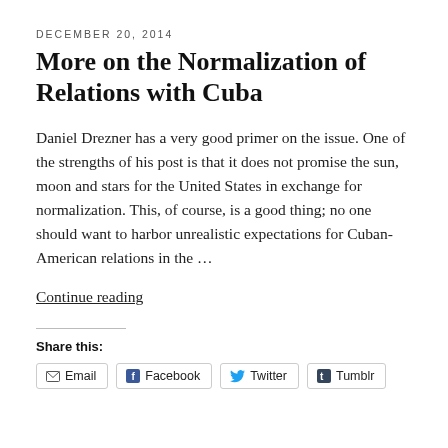DECEMBER 20, 2014
More on the Normalization of Relations with Cuba
Daniel Drezner has a very good primer on the issue. One of the strengths of his post is that it does not promise the sun, moon and stars for the United States in exchange for normalization. This, of course, is a good thing; no one should want to harbor unrealistic expectations for Cuban-American relations in the …
Continue reading
Share this:
Email  Facebook  Twitter  Tumblr